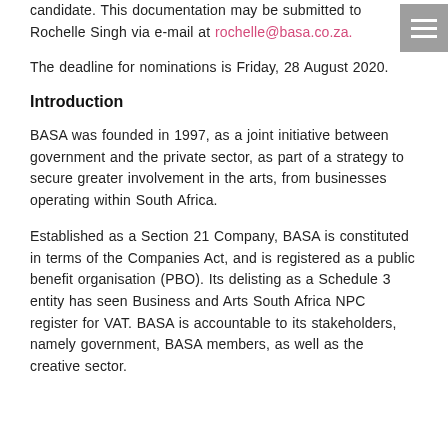candidate. This documentation may be submitted to Rochelle Singh via e-mail at rochelle@basa.co.za.
The deadline for nominations is Friday, 28 August 2020.
Introduction
BASA was founded in 1997, as a joint initiative between government and the private sector, as part of a strategy to secure greater involvement in the arts, from businesses operating within South Africa.
Established as a Section 21 Company, BASA is constituted in terms of the Companies Act, and is registered as a public benefit organisation (PBO). Its delisting as a Schedule 3 entity has seen Business and Arts South Africa NPC register for VAT. BASA is accountable to its stakeholders, namely government, BASA members, as well as the creative sector.